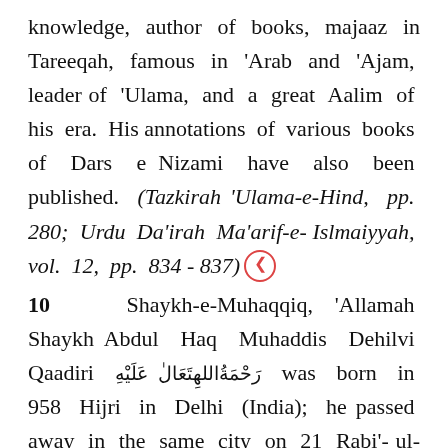knowledge, author of books, majaaz in Tareeqah, famous in 'Arab and 'Ajam, leader of 'Ulama, and a great Aalim of his era. His annotations of various books of Dars e Nizami have also been published. (Tazkirah 'Ulama-e-Hind, pp. 280; Urdu Da'irah Ma'arif-e-Islmaiyyah, vol. 12, pp. 834 - 837)
10   Shaykh-e-Muhaqqiq, 'Allamah Shaykh Abdul Haq Muhaddis Dehilvi Qaadiri [Arabic] was born in 958 Hijri in Delhi (India); he passed away in the same city on 21 Rabi'-ul-Awwal 1052 Hijri. His blessed shrine is